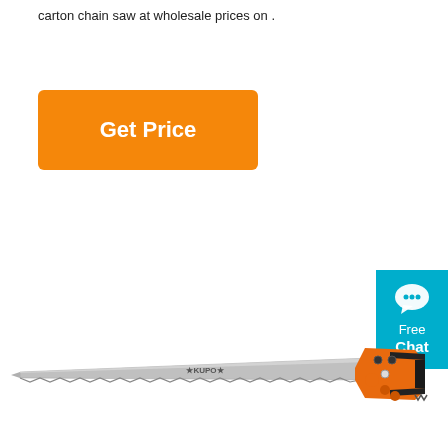carton chain saw at wholesale prices on .
[Figure (other): Orange 'Get Price' button]
[Figure (other): Teal 'Free Chat' button with chat bubble icon]
[Figure (photo): A hand saw with a silver blade featuring serrated teeth and an orange and black ergonomic pistol-grip handle, shown horizontally against a white background.]